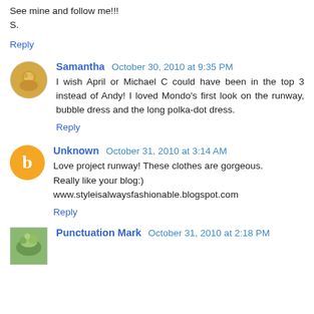See mine and follow me!!!
S.
Reply
Samantha  October 30, 2010 at 9:35 PM
I wish April or Michael C could have been in the top 3 instead of Andy! I loved Mondo's first look on the runway, bubble dress and the long polka-dot dress.
Reply
Unknown  October 31, 2010 at 3:14 AM
Love project runway! These clothes are gorgeous.
Really like your blog:)
www.styleisalwaysfashionable.blogspot.com
Reply
Punctuation Mark  October 31, 2010 at 2:18 PM